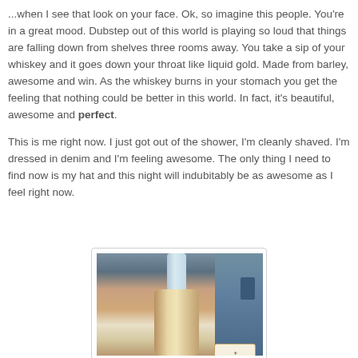...when I see that look on your face. Ok, so imagine this people. You're in a great mood. Dubstep out of this world is playing so loud that things are falling down from shelves three rooms away. You take a sip of your whiskey and it goes down your throat like liquid gold. Made from barley, awesome and win. As the whiskey burns in your stomach you get the feeling that nothing could be better in this world. In fact, it's beautiful, awesome and perfect.
This is me right now. I just got out of the shower, I'm cleanly shaved. I'm dressed in denim and I'm feeling awesome. The only thing I need to find now is my hat and this night will indubitably be as awesome as I feel right now.
[Figure (photo): A photo of a Bell's whiskey bottle inside what appears to be a refrigerator or cabinet, with a blue background and shelving visible.]